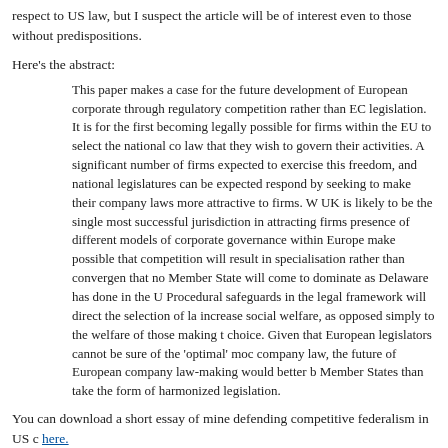respect to US law, but I suspect the article will be of interest even to those without predispositions.
Here's the abstract:
This paper makes a case for the future development of European corporate through regulatory competition rather than EC legislation. It is for the first becoming legally possible for firms within the EU to select the national co law that they wish to govern their activities. A significant number of firms expected to exercise this freedom, and national legislatures can be expected respond by seeking to make their company laws more attractive to firms. W UK is likely to be the single most successful jurisdiction in attracting firms presence of different models of corporate governance within Europe make possible that competition will result in specialisation rather than convergen that no Member State will come to dominate as Delaware has done in the U Procedural safeguards in the legal framework will direct the selection of la increase social welfare, as opposed simply to the welfare of those making t choice. Given that European legislators cannot be sure of the 'optimal' moc company law, the future of European company law-making would better b Member States than take the form of harmonized legislation.
You can download a short essay of mine defending competitive federalism in US c here.
Posted at 03:16 PM in Law | Permalink
Reblog (0) Tweet Like 0
It... i... First A... d... L...